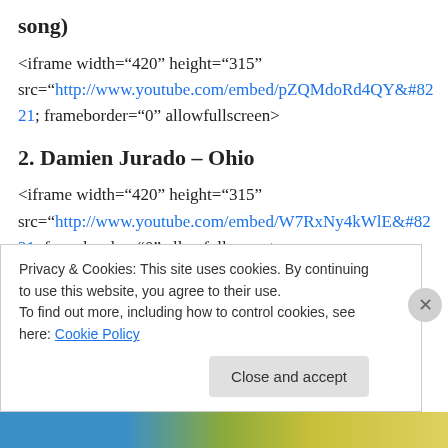song)
<iframe width="420" height="315" src="http://www.youtube.com/embed/pZQMdoRd4QY&#8221; frameborder="0" allowfullscreen>
2. Damien Jurado – Ohio
<iframe width="420" height="315" src="http://www.youtube.com/embed/W7RxNy4kWlE&#8221; frameborder="0" allowfullscreen>
3. The Low Anthem – To Ohio
Privacy & Cookies: This site uses cookies. By continuing to use this website, you agree to their use.
To find out more, including how to control cookies, see here: Cookie Policy